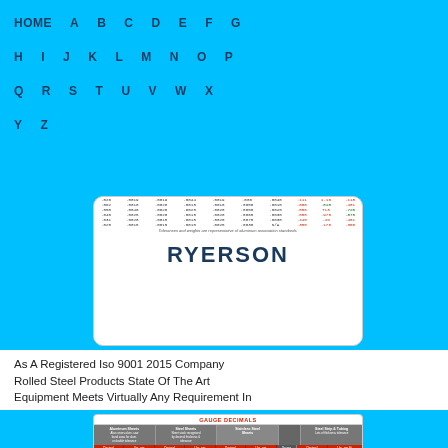HOME  A  B  C  D  E  F  G  H  I  J  K  L  M  N  O  P  Q  R  S  T  U  V  W  X  Y  Z
[Figure (table-as-image): Partial table of gauge decimal tolerances with Ryerson logo at bottom]
As A Registered Iso 9001 2015 Company Rolled Steel Products State Of The Art Equipment Meets Virtually Any Requirement In
[Figure (table-as-image): Gauge Decimals table showing Aluminum Sheets, Steel Sheets, Stainless Steel Sheets, and Steel Strip & Tubing decimal equivalents]